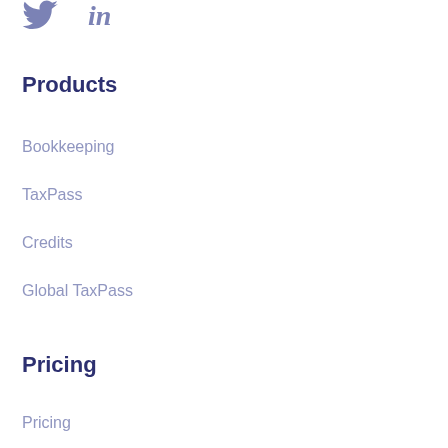[Figure (illustration): Twitter bird icon (blue-purple) and LinkedIn 'in' logo in bold (blue-purple), displayed as social media icons]
Products
Bookkeeping
TaxPass
Credits
Global TaxPass
Pricing
Pricing